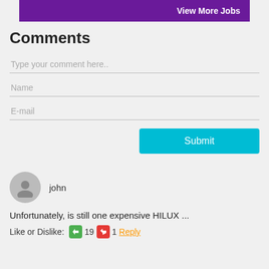[Figure (other): Purple 'View More Jobs' button banner]
Comments
Type your comment here..
Name
E-mail
Submit
john
Unfortunately, is still one expensive HILUX ...
Like or Dislike: 19 1 Reply